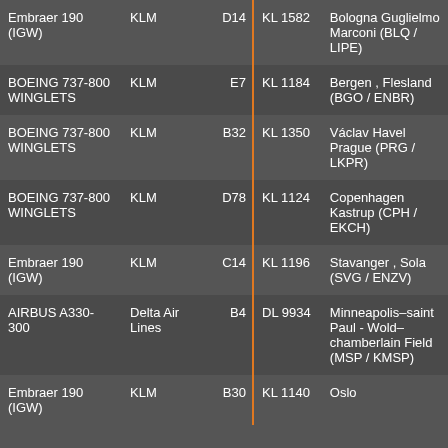| Aircraft | Airline | Gate |  | Flight | Destination |
| --- | --- | --- | --- | --- | --- |
| Embraer 190 (IGW) | KLM | D14 |  | KL 1582 | Bologna Guglielmo Marconi (BLQ / LIPE) |
| BOEING 737-800 WINGLETS | KLM | E7 |  | KL 1184 | Bergen , Flesland (BGO / ENBR) |
| BOEING 737-800 WINGLETS | KLM | B32 |  | KL 1350 | Václav Havel Prague (PRG / LKPR) |
| BOEING 737-800 WINGLETS | KLM | D78 |  | KL 1124 | Copenhagen Kastrup (CPH / EKCH) |
| Embraer 190 (IGW) | KLM | C14 |  | KL 1196 | Stavanger , Sola (SVG / ENZV) |
| AIRBUS A330-300 | Delta Air Lines | B4 |  | DL 9934 | Minneapolis–saint Paul - Wold–chamberlain Field (MSP / KMSP) |
| Embraer 190 (IGW) | KLM | B30 |  | KL 1140 | Oslo |